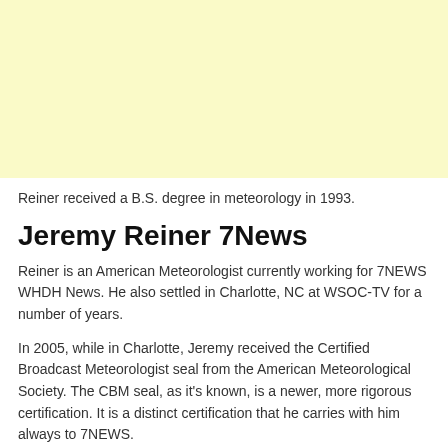[Figure (other): Yellow/cream colored background block representing an image placeholder at the top of the page]
Reiner received a B.S. degree in meteorology in 1993.
Jeremy Reiner 7News
Reiner is an American Meteorologist currently working for 7NEWS WHDH News. He also settled in Charlotte, NC at WSOC-TV for a number of years.
In 2005, while in Charlotte, Jeremy received the Certified Broadcast Meteorologist seal from the American Meteorological Society. The CBM seal, as it's known, is a newer, more rigorous certification. It is a distinct certification that he carries with him always to 7NEWS.